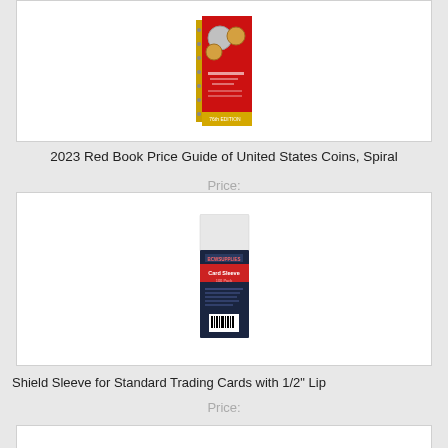[Figure (photo): Red Book 2023 Price Guide of United States Coins, Spiral bound book cover shown from above]
2023 Red Book Price Guide of United States Coins, Spiral
Price:
[Figure (photo): Shield Sleeve for Standard Trading Cards with 1/2 inch Lip product packaging, dark navy blue card sleeve package with red text]
Shield Sleeve for Standard Trading Cards with 1/2" Lip
Price: